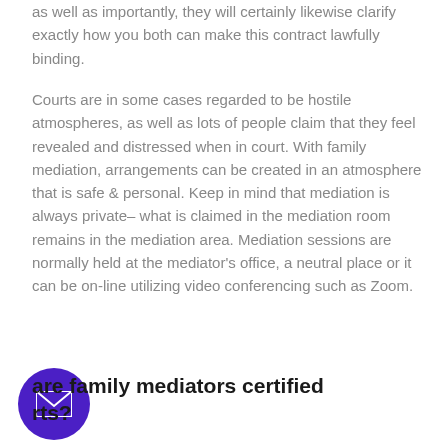as well as importantly, they will certainly likewise clarify exactly how you both can make this contract lawfully binding.
Courts are in some cases regarded to be hostile atmospheres, as well as lots of people claim that they feel revealed and distressed when in court. With family mediation, arrangements can be created in an atmosphere that is safe & personal. Keep in mind that mediation is always private– what is claimed in the mediation room remains in the mediation area. Mediation sessions are normally held at the mediator's office, a neutral place or it can be on-line utilizing video conferencing such as Zoom.
are family mediators certified rts?